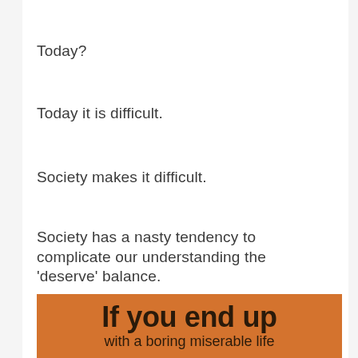Today?
Today it is difficult.
Society makes it difficult.
Society has a nasty tendency to complicate our understanding the 'deserve' balance.
[Figure (infographic): Orange background banner with large bold text 'If you end up' and smaller text 'with a boring miserable life']